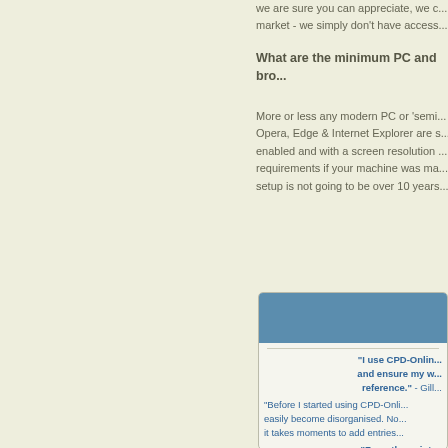we are sure you can appreciate, we c... market - we simply don't have access...
What are the minimum PC and bro...
More or less any modern PC or 'semi... Opera, Edge & Internet Explorer are s... enabled and with a screen resolution ... requirements if your machine was ma... setup is not going to be over 10 years...
[Figure (screenshot): Testimonial box with blue header bar, containing user quotes about CPD-Online in blue bold text]
"I use CPD-Onlin... and ensure my w... reference." - Gill...
"Before I started using CPD-Onli... easily become disorganised. No... it takes moments to add entries...
"From the point ... particularly like t...